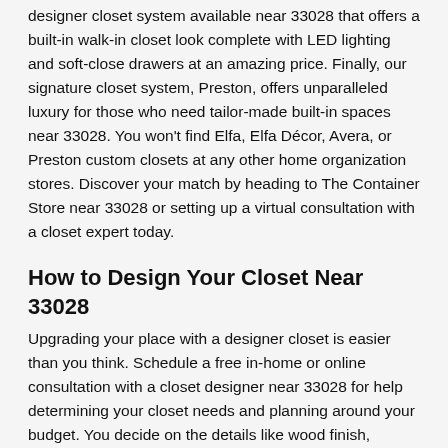designer closet system available near 33028 that offers a built-in walk-in closet look complete with LED lighting and soft-close drawers at an amazing price. Finally, our signature closet system, Preston, offers unparalleled luxury for those who need tailor-made built-in spaces near 33028. You won't find Elfa, Elfa Décor, Avera, or Preston custom closets at any other home organization stores. Discover your match by heading to The Container Store near 33028 or setting up a virtual consultation with a closet expert today.
How to Design Your Closet Near 33028
Upgrading your place with a designer closet is easier than you think. Schedule a free in-home or online consultation with a closet designer near 33028 for help determining your closet needs and planning around your budget. You decide on the details like wood finish, drawer configuration, accessories, and design, and we'll help with the logistical details of measurements and assembly.
If you prefer, you can also peruse our options and designs in-person, you can also start envisioning the closet of your